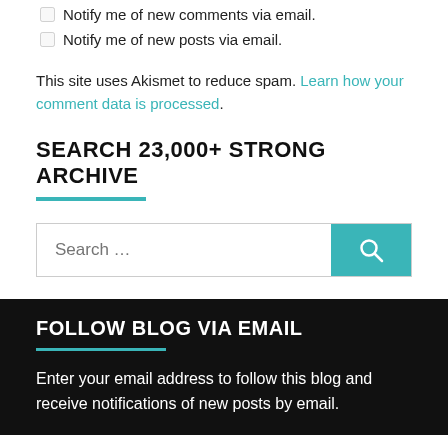Notify me of new comments via email.
Notify me of new posts via email.
This site uses Akismet to reduce spam. Learn how your comment data is processed.
SEARCH 23,000+ STRONG ARCHIVE
[Figure (other): Search input box with teal search button and magnifying glass icon]
FOLLOW BLOG VIA EMAIL
Enter your email address to follow this blog and receive notifications of new posts by email.